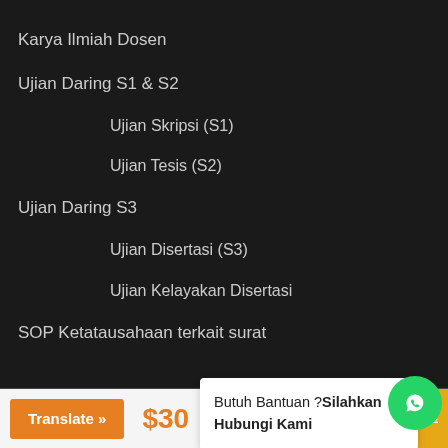Karya Ilmiah Dosen
Ujian Daring S1 & S2
Ujian Skripsi (S1)
Ujian Tesis (S2)
Ujian Daring S3
Ujian Disertasi (S3)
Ujian Kelayakan Disertasi
SOP Ketatausahaan terkait surat
Butuh Bantuan ?Silahkan Hubungi Kami
Translate »
$30
COURSE